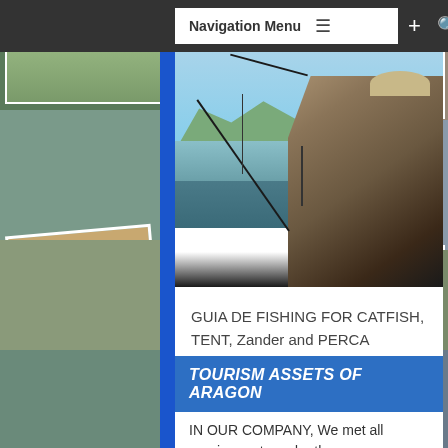Navigation Menu
[Figure (photo): Man fishing on a river, holding a bent fishing rod, with green hills and blue sky in the background]
GUIA DE FISHING FOR CATFISH, TENT, Zander and PERCA
TOURISM ASSETS OF ARAGON
IN OUR COMPANY, We met all requirements under the GOVERNMENT OF